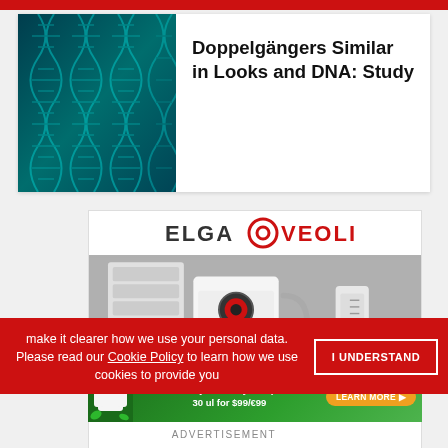[Figure (illustration): DNA double helix strands on teal/dark blue background]
Doppelgängers Similar in Looks and DNA: Study
[Figure (logo): ELGA VEOLIA logo with circular icon]
[Figure (photo): ELGA laboratory water purification equipment]
make it clearer how we use your personal data.
Please read our Cookie Policy to learn how we use cookies to provide you
I UNDERSTAND
[Figure (infographic): OriGene Special Offer: Primary Antibody Samples 30 ul for $99/€99]
ADVERTISEMENT